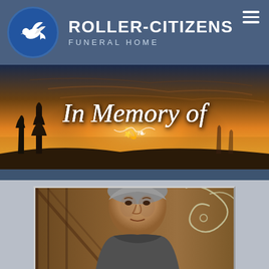[Figure (logo): Roller-Citizens Funeral Home logo: blue circle with white dove on left, text on right reading ROLLER-CITIZENS FUNERAL HOME]
[Figure (photo): Banner image showing a sunset landscape with trees silhouetted against golden-orange sky, overlaid with italic script text 'In Memory of' with a small decorative flourish below]
[Figure (photo): Portrait photo of an elderly man with gray hair, partially cropped, taken inside what appears to be a barn or rustic venue with decorative ironwork visible in background]